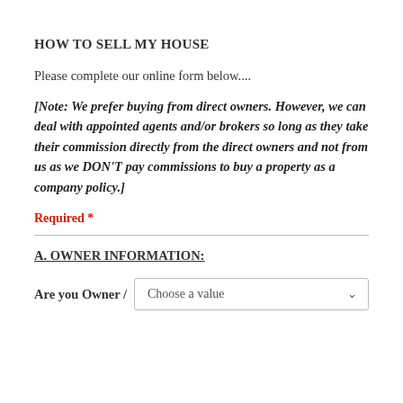HOW TO SELL MY HOUSE
Please complete our online form below....
[Note: We prefer buying from direct owners. However, we can deal with appointed agents and/or brokers so long as they take their commission directly from the direct owners and not from us as we DON'T pay commissions to buy a property as a company policy.]
Required *
A. OWNER INFORMATION:
Are you Owner / [Choose a value dropdown]